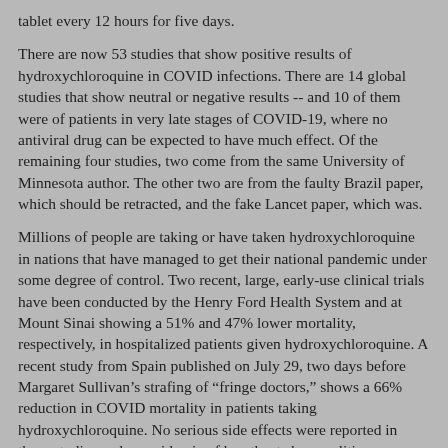tablet every 12 hours for five days.
There are now 53 studies that show positive results of hydroxychloroquine in COVID infections. There are 14 global studies that show neutral or negative results -- and 10 of them were of patients in very late stages of COVID-19, where no antiviral drug can be expected to have much effect. Of the remaining four studies, two come from the same University of Minnesota author. The other two are from the faulty Brazil paper, which should be retracted, and the fake Lancet paper, which was.
Millions of people are taking or have taken hydroxychloroquine in nations that have managed to get their national pandemic under some degree of control. Two recent, large, early-use clinical trials have been conducted by the Henry Ford Health System and at Mount Sinai showing a 51% and 47% lower mortality, respectively, in hospitalized patients given hydroxychloroquine. A recent study from Spain published on July 29, two days before Margaret Sullivan’s strafing of “fringe doctors,” shows a 66% reduction in COVID mortality in patients taking hydroxychloroquine. No serious side effects were reported in these studies and no epidemic of heartbeat abnormalities.